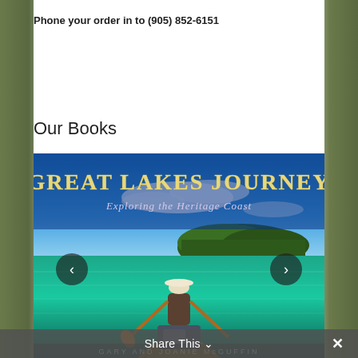Phone your order in to (905) 852-6151
Our Books
[Figure (photo): Book cover of 'Great Lakes Journey: Exploring the Heritage Coast' by Gary and Joanie McGuffin. Shows a person paddling a canoe on clear turquoise-green water with a forested island in the background under a blue sky. Title text in large gold serif font at top. Left and right navigation arrow buttons overlaid on the image.]
Share This ∨  ✕